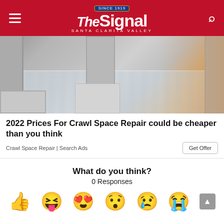The Signal — Santa Clarita Valley
[Figure (photo): Crawl space interior showing plastic vapor barrier sheeting on the ground with concrete block pillars, warm orange glow from the right side]
2022 Prices For Crawl Space Repair could be cheaper than you think
Crawl Space Repair | Search Ads
What do you think?
0 Responses
[Figure (illustration): Row of six reaction emojis: thumbs up, laughing face with tongue, heart eyes, surprised face, crying face, sad crying face. Plus a scroll-to-top arrow button on the right.]